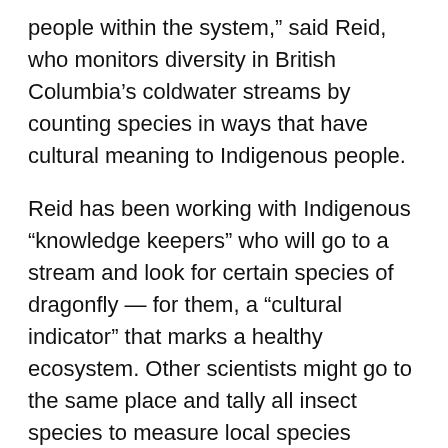people within the system,” said Reid, who monitors diversity in British Columbia’s coldwater streams by counting species in ways that have cultural meaning to Indigenous people.
Reid has been working with Indigenous “knowledge keepers” who will go to a stream and look for certain species of dragonfly — for them, a “cultural indicator” that marks a healthy ecosystem. Other scientists might go to the same place and tally all insect species to measure local species richness. These measures can be used together, Reid says, to assess the overall condition of the stream over time.
This kind of “pluralistic” perspective, as some scientists call it, aligns with what Reid calls “two-eyed seeing” — a way of bringing together Indigenous and Western understandings. “It’s not about throwing something out, or